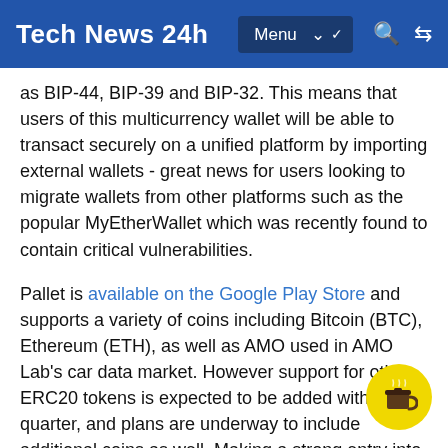Tech News 24h
as BIP-44, BIP-39 and BIP-32. This means that users of this multicurrency wallet will be able to transact securely on a unified platform by importing external wallets - great news for users looking to migrate wallets from other platforms such as the popular MyEtherWallet which was recently found to contain critical vulnerabilities.
Pallet is available on the Google Play Store and supports a variety of coins including Bitcoin (BTC), Ethereum (ETH), as well as AMO used in AMO Lab's car data market. However support for other ERC20 tokens is expected to be added within this quarter, and plans are underway to include additional coins as well. Making a strong entry into the cryptocurrency wallet market, AMO Labs will be following up Pallet's Android debut with an iOS release in Q3, as well as a launch of a new range of hardware wallets, packing